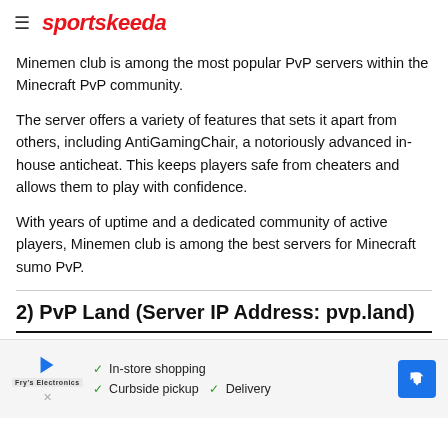≡ sportskeeda
Minemen club is among the most popular PvP servers within the Minecraft PvP community.
The server offers a variety of features that sets it apart from others, including AntiGamingChair, a notoriously advanced in-house anticheat. This keeps players safe from cheaters and allows them to play with confidence.
With years of uptime and a dedicated community of active players, Minemen club is among the best servers for Minecraft sumo PvP.
2) PvP Land (Server IP Address: pvp.land)
[Figure (infographic): Advertisement banner showing In-store shopping, Curbside pickup, and Delivery options with a map direction arrow icon.]